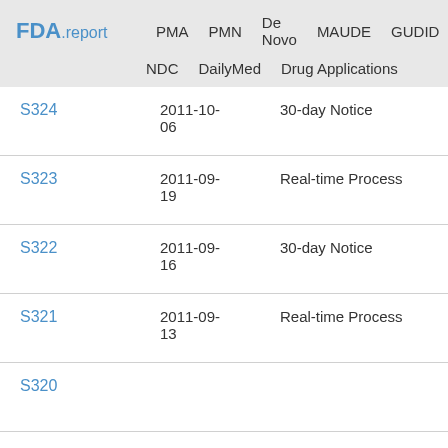FDA.report  PMA  PMN  De Novo  MAUDE  GUDID  NDC  DailyMed  Drug Applications
| ID | Date | Type |
| --- | --- | --- |
| S324 | 2011-10-06 | 30-day Notice |
| S323 | 2011-09-19 | Real-time Process |
| S322 | 2011-09-16 | 30-day Notice |
| S321 | 2011-09-13 | Real-time Process |
| S320 |  |  |
| S319 | 2011-08-30 | 30-day Notice |
| S318 | 2011-07- | 30-day Notice |